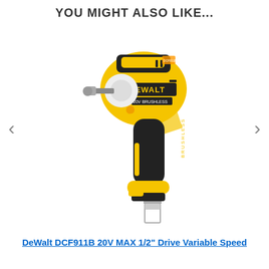YOU MIGHT ALSO LIKE...
[Figure (photo): DeWalt DCF911B 20V MAX 1/2-inch brushless impact wrench shown in yellow and black, tool-only (no battery), with a wire clip at the bottom.]
DeWalt DCF911B 20V MAX 1/2" Drive Variable Speed